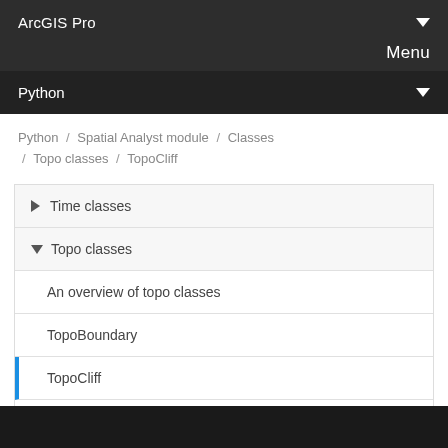ArcGIS Pro
Menu
Python
Python / Spatial Analyst module / Classes / Topo classes / TopoCliff
> Time classes
v Topo classes
An overview of topo classes
TopoBoundary
TopoCliff
Topo...